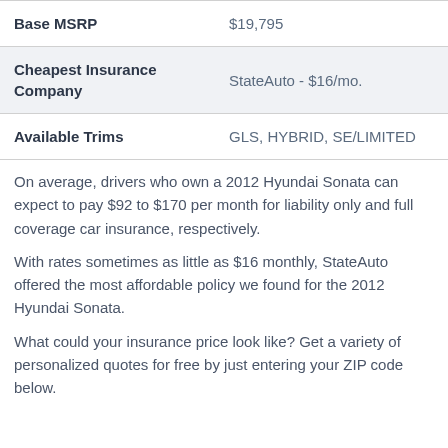|  |  |
| --- | --- |
| Base MSRP | $19,795 |
| Cheapest Insurance Company | StateAuto - $16/mo. |
| Available Trims | GLS, HYBRID, SE/LIMITED |
On average, drivers who own a 2012 Hyundai Sonata can expect to pay $92 to $170 per month for liability only and full coverage car insurance, respectively.
With rates sometimes as little as $16 monthly, StateAuto offered the most affordable policy we found for the 2012 Hyundai Sonata.
What could your insurance price look like? Get a variety of personalized quotes for free by just entering your ZIP code below.